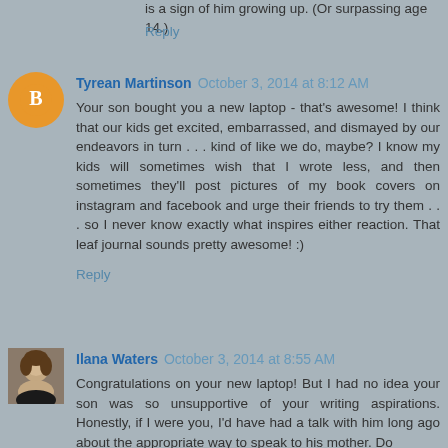is a sign of him growing up. (Or surpassing age 14.)
Reply
Tyrean Martinson October 3, 2014 at 8:12 AM
Your son bought you a new laptop - that's awesome! I think that our kids get excited, embarrassed, and dismayed by our endeavors in turn . . . kind of like we do, maybe? I know my kids will sometimes wish that I wrote less, and then sometimes they'll post pictures of my book covers on instagram and facebook and urge their friends to try them . . . so I never know exactly what inspires either reaction. That leaf journal sounds pretty awesome! :)
Reply
Ilana Waters October 3, 2014 at 8:55 AM
Congratulations on your new laptop! But I had no idea your son was so unsupportive of your writing aspirations. Honestly, if I were you, I'd have had a talk with him long ago about the appropriate way to speak to his mother. Do